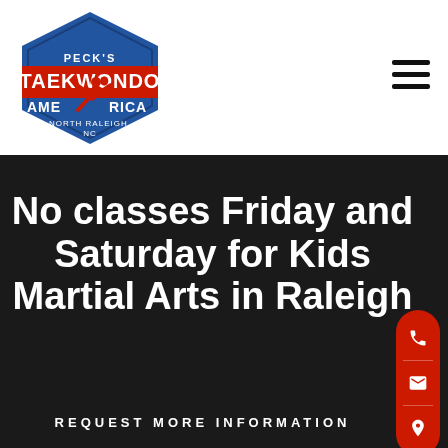[Figure (logo): Peck's Taekwondo America logo — blue hexagon shape with red martial artist silhouette, text PECK'S TAEKWONDO AMERICA and NORTH RALEIGH, NC]
No classes Friday and Saturday for Kids Martial Arts in Raleigh
REQUEST MORE INFORMATION